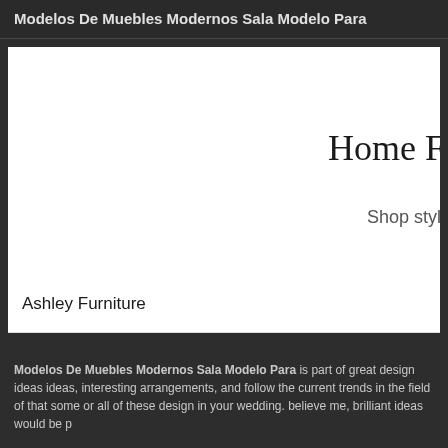Modelos De Muebles Modernos Sala Modelo Para
[Figure (screenshot): White content box showing partial text 'Home F' and 'Shop styli' on the right side, with 'Ashley Furniture' label at the bottom]
Modelos De Muebles Modernos Sala Modelo Para is part of great design ideas ideas, interesting arrangements, and follow the current trends in the field of that some or all of these design in your wedding. believe me, brilliant ideas would be p
Modelos De Muebles Modernos Sala Modelo Para was posted in November 21, 2 users. Click it and download the Modelos De Muebles Modernos Sala Modelo P